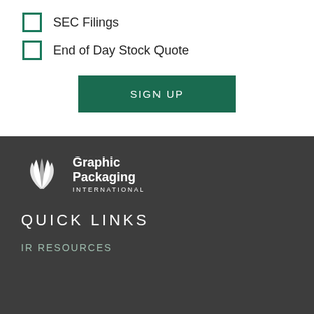SEC Filings
End of Day Stock Quote
SIGN UP
[Figure (logo): Graphic Packaging International logo with white leaf/wing icon and text]
QUICK LINKS
IR RESOURCES